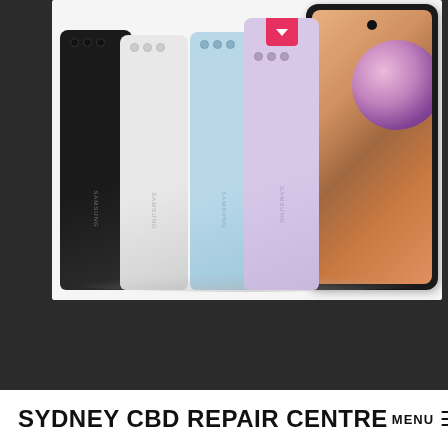[Figure (photo): Samsung Galaxy A32 smartphones shown in multiple colors (black, white, light blue, lavender) from the back, plus one phone shown from the front displaying a colorful wallpaper with a bubble graphic. A red/pink chevron button is visible on the top of the lavender phone.]
SYDNEY CBD REPAIR CENTRE MENU ≡